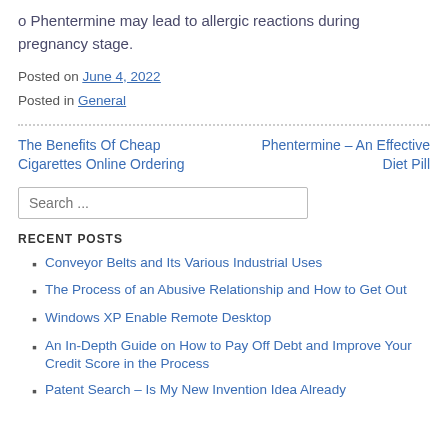o Phentermine may lead to allergic reactions during pregnancy stage.
Posted on June 4, 2022
Posted in General
The Benefits Of Cheap Cigarettes Online Ordering | Phentermine – An Effective Diet Pill
Search ...
RECENT POSTS
Conveyor Belts and Its Various Industrial Uses
The Process of an Abusive Relationship and How to Get Out
Windows XP Enable Remote Desktop
An In-Depth Guide on How to Pay Off Debt and Improve Your Credit Score in the Process
Patent Search – Is My New Invention Idea Already